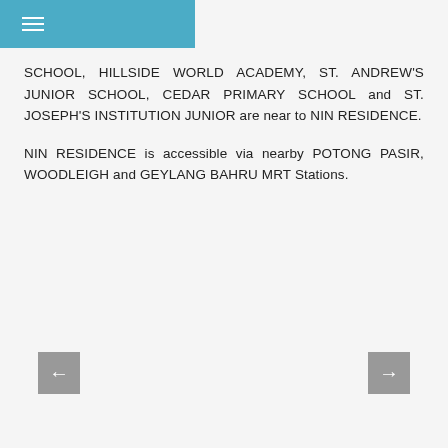☰
SCHOOL, HILLSIDE WORLD ACADEMY, ST. ANDREW'S JUNIOR SCHOOL, CEDAR PRIMARY SCHOOL and ST. JOSEPH'S INSTITUTION JUNIOR are near to NIN RESIDENCE.
NIN RESIDENCE is accessible via nearby POTONG PASIR, WOODLEIGH and GEYLANG BAHRU MRT Stations.